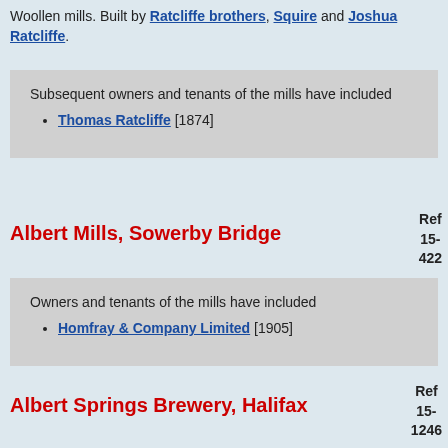Woollen mills. Built by Ratcliffe brothers, Squire and Joshua Ratcliffe.
Subsequent owners and tenants of the mills have included
Thomas Ratcliffe [1874]
Albert Mills, Sowerby Bridge
Ref 15-422
Owners and tenants of the mills have included
Homfray & Company Limited [1905]
Albert Springs Brewery, Halifax
Ref 15-1246